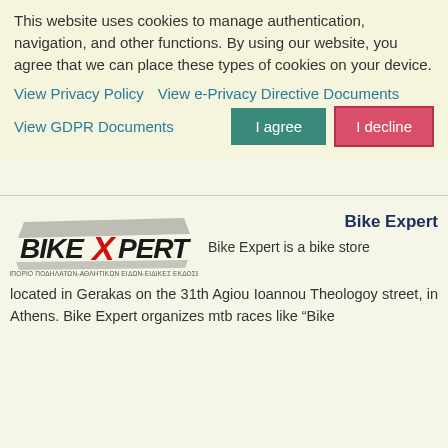This website uses cookies to manage authentication, navigation, and other functions. By using our website, you agree that we can place these types of cookies on your device.
View Privacy Policy   View e-Privacy Directive Documents   View GDPR Documents
[Figure (screenshot): BikeXpert logo with Greek text: ΕΜΠΟΡΙΟ ΠΟΔΗΛΑΤΩΝ-ΑΘΛΗΤΙΚΩΝ ΕΙΔΩΝ-ΕΙΔΙΚΕΣ ΕΚΔΟΣΕΙΣ]
Bike Expert
Bike Expert is a bike store located in Gerakas on the 31th Agiou Ioannou Theologoy street, in Athens. Bike Expert organizes mtb races like "Bike